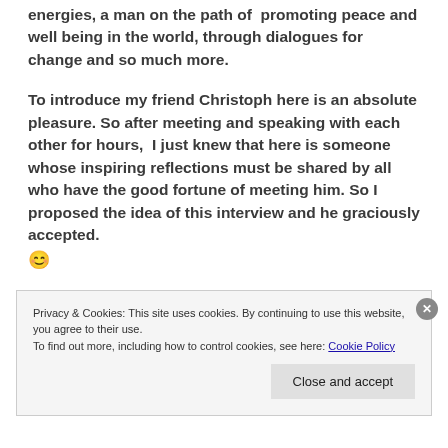energies, a man on the path of promoting peace and well being in the world, through dialogues for change and so much more.
To introduce my friend Christoph here is an absolute pleasure. So after meeting and speaking with each other for hours, I just knew that here is someone whose inspiring reflections must be shared by all who have the good fortune of meeting him. So I proposed the idea of this interview and he graciously accepted. 😊
So join along with me in a journey of discovering more
Privacy & Cookies: This site uses cookies. By continuing to use this website, you agree to their use.
To find out more, including how to control cookies, see here: Cookie Policy
Close and accept